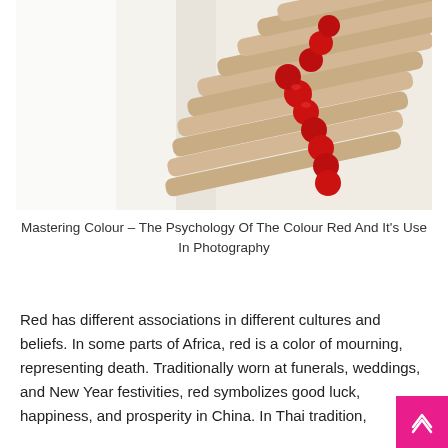[Figure (photo): Close-up photograph of red-tipped matchsticks arranged in a row, with red match heads visible in diagonal line against cream/beige wooden sticks, on a white background]
Mastering Colour – The Psychology Of The Colour Red And It's Use In Photography
Red has different associations in different cultures and beliefs. In some parts of Africa, red is a color of mourning, representing death. Traditionally worn at funerals, weddings, and New Year festivities, red symbolizes good luck, happiness, and prosperity in China. In Thai tradition,